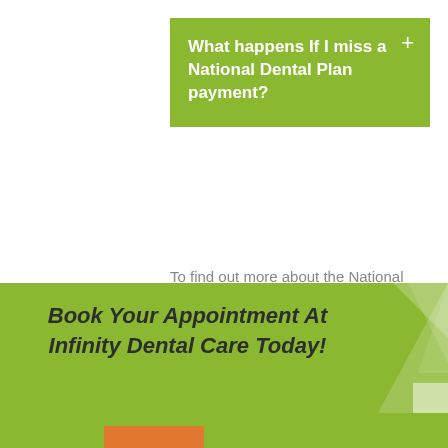What happens If I miss a National Dental Plan payment?
To find out more about the National Dental Plan and how it can help you, talk to our experienced team at Infinity Dental Care. You really are only one step away from total peace-of-mind.
Book Your Appointment At Infinity Dental Care Today!